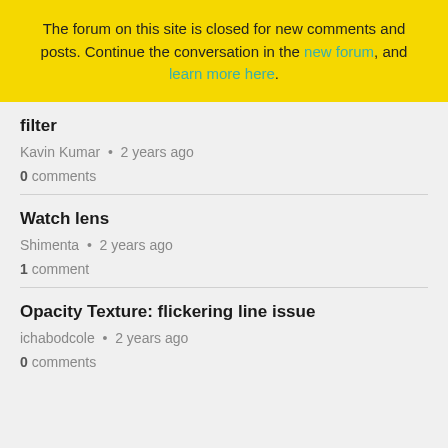The forum on this site is closed for new comments and posts. Continue the conversation in the new forum, and learn more here.
filter
Kavin Kumar • 2 years ago
0 comments
Watch lens
Shimenta • 2 years ago
1 comment
Opacity Texture: flickering line issue
ichabodcole • 2 years ago
0 comments